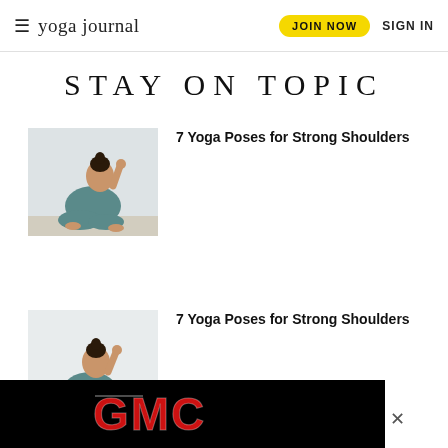≡ yoga journal | JOIN NOW | SIGN IN
STAY ON TOPIC
[Figure (photo): Person in teal outfit doing a seated yoga shoulder stretch pose on light wood floor]
7 Yoga Poses for Strong Shoulders
[Figure (photo): Same person in teal outfit doing a seated yoga shoulder stretch pose, cropped view]
7 Yoga Poses for Strong Shoulders
[Figure (logo): GMC logo advertisement banner on black background]